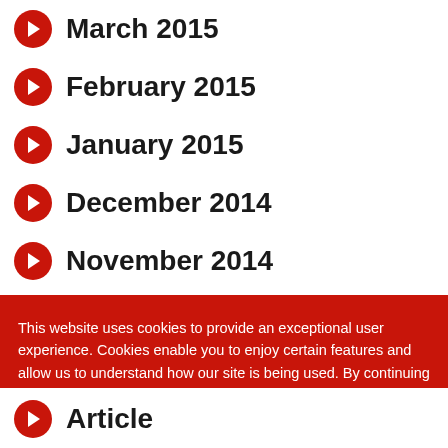March 2015
February 2015
January 2015
December 2014
November 2014
October 2014
September 2014
This website uses cookies to provide an exceptional user experience. Cookies enable you to enjoy certain features and allow us to understand how our site is being used. By continuing to use our site, you consent to our use of cookies. Read more
Article